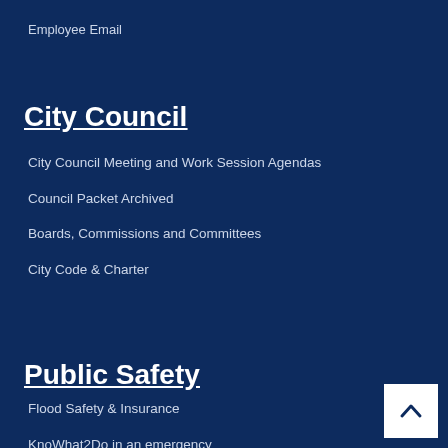Employee Email
City Council
City Council Meeting and Work Session Agendas
Council Packet Archived
Boards, Commissions and Committees
City Code & Charter
Public Safety
Flood Safety & Insurance
KnoWhat2Do in an emergency